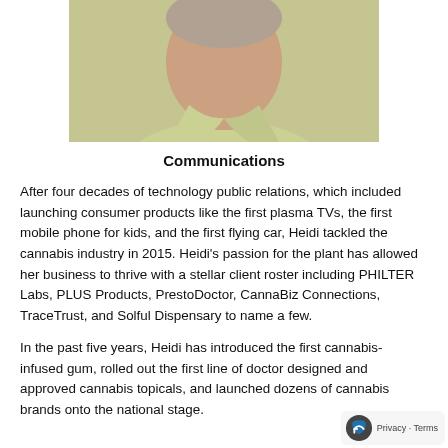[Figure (photo): Headshot/portrait photo of a woman (Heidi) wearing a light green shirt, cropped to show head and upper chest area]
Communications
After four decades of technology public relations, which included launching consumer products like the first plasma TVs, the first mobile phone for kids, and the first flying car, Heidi tackled the cannabis industry in 2015. Heidi's passion for the plant has allowed her business to thrive with a stellar client roster including PHILTER Labs, PLUS Products, PrestoDoctor, CannaBiz Connections, TraceTrust, and Solful Dispensary to name a few.
In the past five years, Heidi has introduced the first cannabis-infused gum, rolled out the first line of doctor designed and approved cannabis topicals, and launched dozens of cannabis brands onto the national stage.